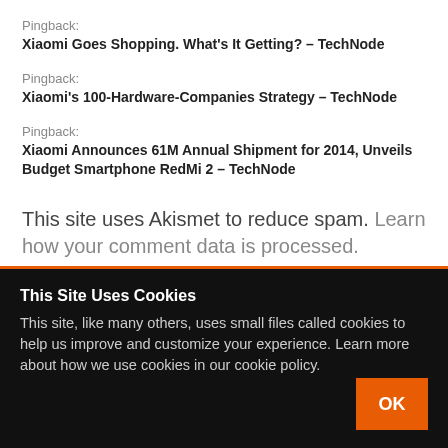Pingback:
Xiaomi Goes Shopping. What's It Getting? - TechNode
Pingback:
Xiaomi's 100-Hardware-Companies Strategy - TechNode
Pingback:
Xiaomi Announces 61M Annual Shipment for 2014, Unveils Budget Smartphone RedMi 2 - TechNode
This site uses Akismet to reduce spam. Learn how your comment data is processed.
This Site Uses Cookies
This site, like many others, uses small files called cookies to help us improve and customize your experience. Learn more about how we use cookies in our cookie policy.